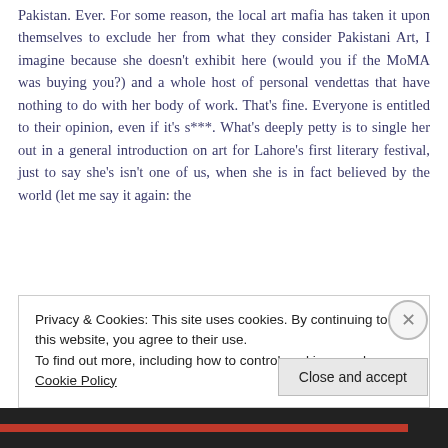Pakistan. Ever. For some reason, the local art mafia has taken it upon themselves to exclude her from what they consider Pakistani Art, I imagine because she doesn't exhibit here (would you if the MoMA was buying you?) and a whole host of personal vendettas that have nothing to do with her body of work. That's fine. Everyone is entitled to their opinion, even if it's s***. What's deeply petty is to single her out in a general introduction on art for Lahore's first literary festival, just to say she's isn't one of us, when she is in fact believed by the world (let me say it again: the
Privacy & Cookies: This site uses cookies. By continuing to use this website, you agree to their use.
To find out more, including how to control cookies, see here: Cookie Policy
Close and accept